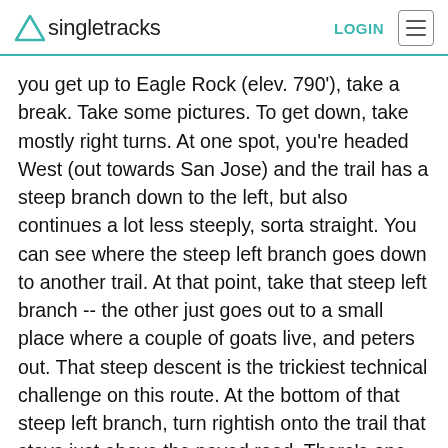singletracks  LOGIN
you get up to Eagle Rock (elev. 790'), take a break. Take some pictures. To get down, take mostly right turns. At one spot, you're headed West (out towards San Jose) and the trail has a steep branch down to the left, but also continues a lot less steeply, sorta straight. You can see where the steep left branch goes down to another trail. At that point, take that steep left branch -- the other just goes out to a small place where a couple of goats live, and peters out. That steep descent is the trickiest technical challenge on this route. At the bottom of that steep left branch, turn rightish onto the trail that stays just above the paved road. There's one nasty down-and-up right turn that's easy to miss (but if you do, it just